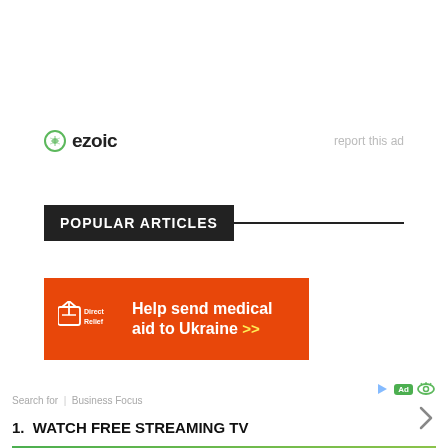[Figure (logo): Ezoic logo with green circular icon and bold 'ezoic' text]
report this ad
POPULAR ARTICLES
[Figure (infographic): Direct Relief ad banner: orange background with Direct Relief logo and text 'Help send medical aid to Ukraine >>']
Search for | Business Focus
1.  WATCH FREE STREAMING TV